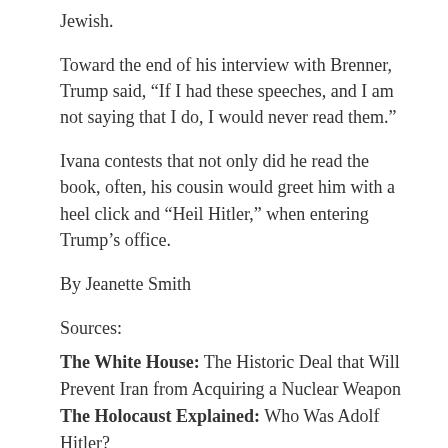Jewish.
Toward the end of his interview with Brenner, Trump said, “If I had these speeches, and I am not saying that I do, I would never read them.”
Ivana contests that not only did he read the book, often, his cousin would greet him with a heel click and “Heil Hitler,” when entering Trump’s office.
By Jeanette Smith
Sources:
The White House: The Historic Deal that Will Prevent Iran from Acquiring a Nuclear Weapon
The Holocaust Explained: Who Was Adolf Hitler?
Google: Donald Trump Policies
History: TREATY OF VERSAILLES
Office of the United States Trade Representative: The Trans-Pacific Partnership